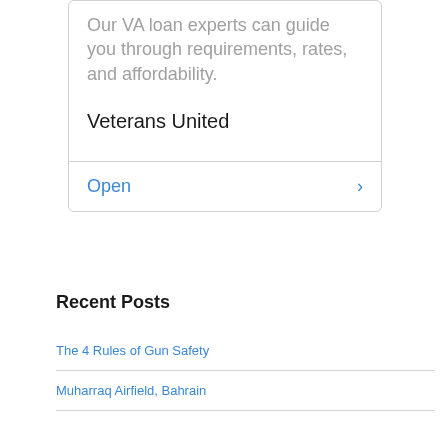Our VA loan experts can guide you through requirements, rates, and affordability.
Veterans United
Open
Recent Posts
The 4 Rules of Gun Safety
Muharraq Airfield, Bahrain